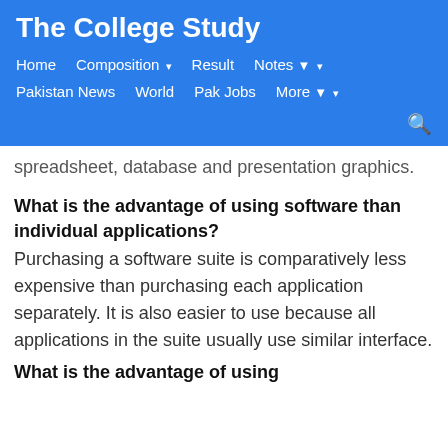The College Study
Home   Composition ▾   Result   Notes ▼ ▾
Pakistan News   World   Pak Jobs   More ▼ ▾
spreadsheet, database and presentation graphics.
What is the advantage of using software than individual applications?
Purchasing a software suite is comparatively less expensive than purchasing each application separately. It is also easier to use because all applications in the suite usually use similar interface.
What is the advantage of using